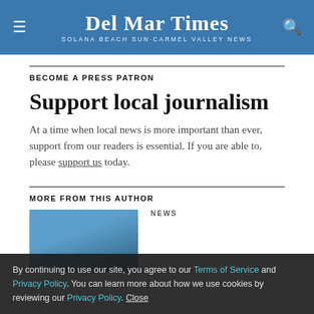Del Mar Times — Solana Beach Sun-Carmel Valley News
BECOME A PRESS PATRON
Support local journalism
At a time when local news is more important than ever, support from our readers is essential. If you are able to, please support us today.
MORE FROM THIS AUTHOR
[Figure (photo): Thumbnail photo for a news article]
NEWS
By continuing to use our site, you agree to our Terms of Service and Privacy Policy. You can learn more about how we use cookies by reviewing our Privacy Policy. Close